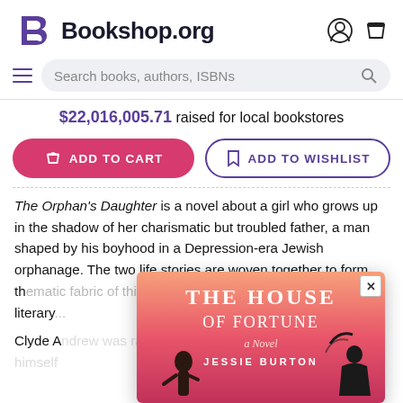[Figure (logo): Bookshop.org logo with stylized B icon and wordmark]
Search books, authors, ISBNs
$22,016,005.71 raised for local bookstores
ADD TO CART
ADD TO WISHLIST
The Orphan's Daughter is a novel about a girl who grows up in the shadow of her charismatic but troubled father, a man shaped by his boyhood in a Depression-era Jewish orphanage. The two life stories are woven together to form th... of literary...
Clyde A... bgly busolic... self
[Figure (illustration): Book cover popup for 'The House of Fortune: A Novel' by Jessie Burton, showing a pink/orange gradient background with silhouetted figures]